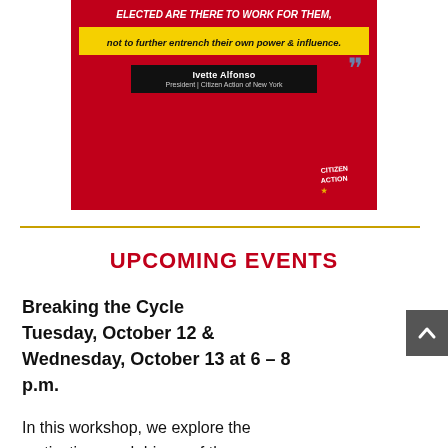[Figure (infographic): Red banner image with quote text: 'elected are there to work for them, not to further entrench their own power & influence.' Yellow highlighted strip. Black nameplate for Ivette Alfonso, President, Citizen Action of New York. Blue quotation marks and Citizen Action logo.]
UPCOMING EVENTS
Breaking the Cycle Tuesday, October 12 & Wednesday, October 13 at 6 – 8 p.m.
In this workshop, we explore the motivations and drivers of the